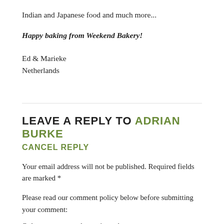Indian and Japanese food and much more...
Happy baking from Weekend Bakery!
Ed & Marieke
Netherlands
LEAVE A REPLY TO ADRIAN BURKE
CANCEL REPLY
Your email address will not be published. Required fields are marked *
Please read our comment policy below before submitting your comment:
Only comments and questions about...